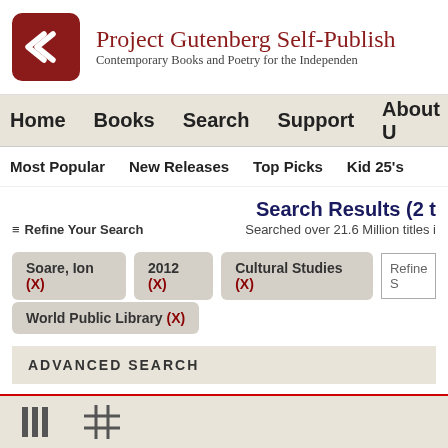[Figure (logo): Project Gutenberg Self-Publishing logo: red rounded square with white G chevron mark]
Project Gutenberg Self-Publish
Contemporary Books and Poetry for the Independen
Home   Books   Search   Support   About U
Most Popular   New Releases   Top Picks   Kid 25's
Search Results (2 t
☰ Refine Your Search
Searched over 21.6 Million titles i
Soare, Ion (X)
2012 (X)
Cultural Studies (X)
World Public Library (X)
ADVANCED SEARCH